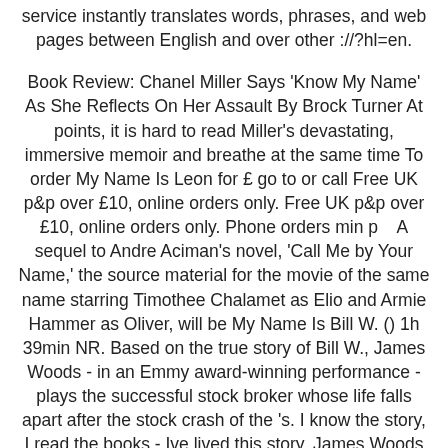service instantly translates words, phrases, and web pages between English and over other ://?hl=en.
Book Review: Chanel Miller Says 'Know My Name' As She Reflects On Her Assault By Brock Turner At points, it is hard to read Miller's devastating, immersive memoir and breathe at the same time To order My Name Is Leon for £ go to or call Free UK p&p over £10, online orders only. Free UK p&p over £10, online orders only. Phone orders min p    A sequel to Andre Aciman's novel, 'Call Me by Your Name,' the source material for the movie of the same name starring Timothee Chalamet as Elio and Armie Hammer as Oliver, will be My Name Is Bill W. () 1h 39min NR. Based on the true story of Bill W., James Woods - in an Emmy award-winning performance - plays the successful stock broker whose life falls apart after the stock crash of the 's. I know the story, I read the books,- Ive lived this story. James Woods